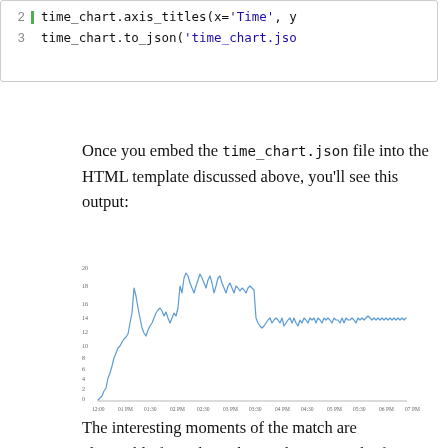[Figure (screenshot): Code block showing lines 2 and 3 with Python code: time_chart.axis_titles(x='Time', y... and time_chart.to_json('time_chart.jso...]
Once you embed the time_chart.json file into the HTML template discussed above, you'll see this output:
[Figure (continuous-plot): Line chart showing a time series from 12:00 to 07 PM. The y-axis ranges from 0 to approximately 20+. There are large spikes just before 1PM and between 1:30 and 2:30pm, then lower activity for the rest of the day.]
The interesting moments of the match are observable from the spikes in the series. The first spike just before 1pm corresponds to the first Italian try. All the other spikes between 1:30 and 2:30pm